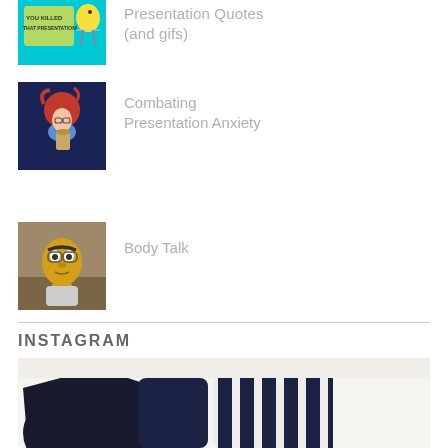[Figure (illustration): Cartoon bird character with 'You Killed That Presentation!' text on cyan background]
Presentation Quotes (and gifs)
[Figure (illustration): Anime-style red-haired girl with glasses looking anxious, breathing into a paper bag, on dark blue background]
Combating Presentation Anxiety
[Figure (photo): Photo of Bert (Sesame Street) puppet looking nervous]
Body Talk
INSTAGRAM
[Figure (photo): Photo of dark navy and white striped pillows on a sofa]